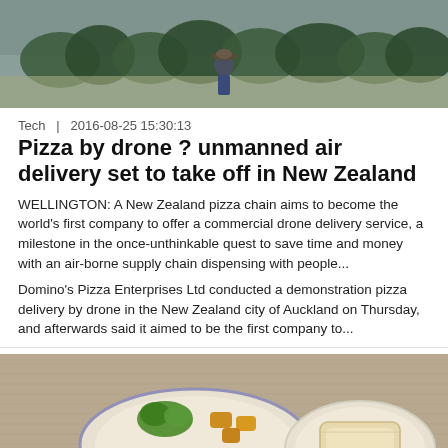[Figure (photo): Outdoor photo of a person standing in front of trees under an overcast sky]
Tech  |  2016-08-25 15:30:13
Pizza by drone ? unmanned air delivery set to take off in New Zealand
WELLINGTON: A New Zealand pizza chain aims to become the world's first company to offer a commercial drone delivery service, a milestone in the once-unthinkable quest to save time and money with an air-borne supply chain dispensing with people...
Domino's Pizza Enterprises Ltd conducted a demonstration pizza delivery by drone in the New Zealand city of Auckland on Thursday, and afterwards said it aimed to be the first company to...
[Figure (photo): Overhead photo of two plates of food on a table — one plate with vegetables, fried snacks, and a star-shaped bowl of sauce, another plate with a slice of bread]